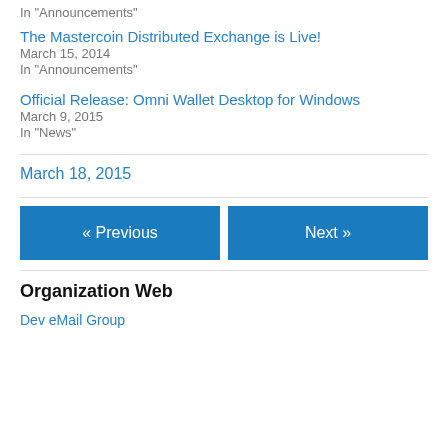In "Announcements"
The Mastercoin Distributed Exchange is Live!
March 15, 2014
In "Announcements"
Official Release: Omni Wallet Desktop for Windows
March 9, 2015
In "News"
March 18, 2015
« Previous
Next »
Organization Web
Dev eMail Group